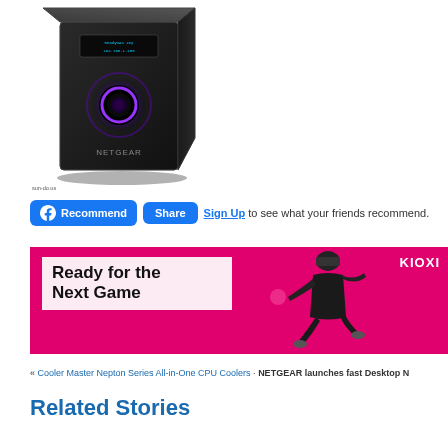[Figure (photo): NETGEAR ReadyNAS NAS device, a black box-shaped network storage unit with a purple glowing ring on the front panel and a small display showing an IP address]
sun-do.us
Recommend  Share  Sign Up to see what your friends recommend.
[Figure (other): KIOXIA advertisement banner with magenta/pink background showing text 'Ready for the Next Game' with a person wearing VR headset jumping]
« Cooler Master Nepton Series All-in-One CPU Coolers · NETGEAR launches fast Desktop N
Related Stories